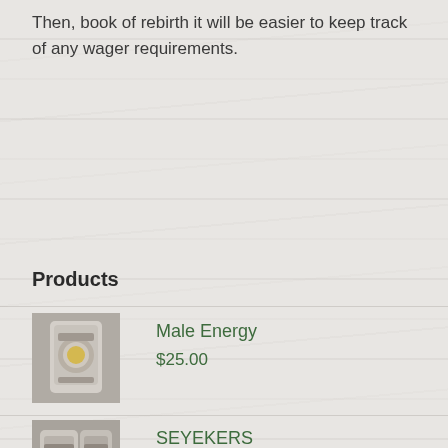Then, book of rebirth it will be easier to keep track of any wager requirements.
Products
Male Energy
$25.00
SEYEKERS
$25.00